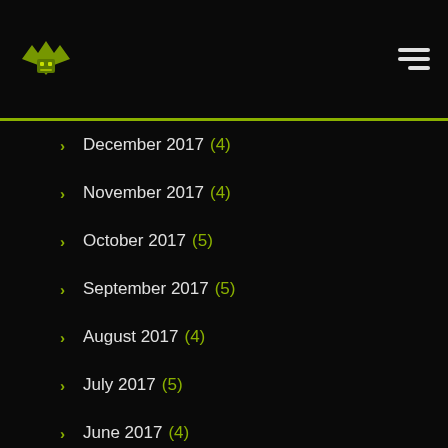Lavish Finder logo and hamburger menu
December 2017 (4)
November 2017 (4)
October 2017 (5)
September 2017 (5)
August 2017 (4)
July 2017 (5)
June 2017 (4)
May 2017 (5)
April 2017 (4)